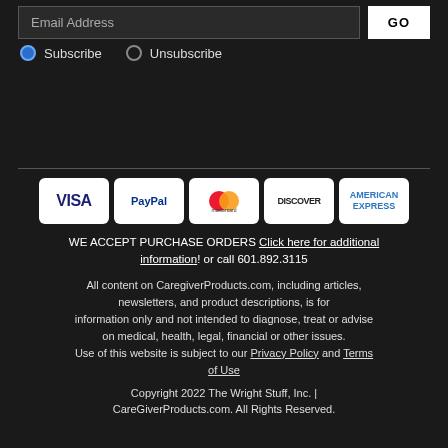Email Address
GO
Subscribe  Unsubscribe
[Figure (infographic): Payment method logos: VISA, PayPal, Mastercard, Discover, American Express displayed as white badge icons]
WE ACCEPT PURCHASE ORDERS Click here for additional information! or call 601.892.3115
All content on CaregiverProducts.com, including articles, newsletters, and product descriptions, is for information only and not intended to diagnose, treat or advise on medical, health, legal, financial or other issues. Use of this website is subject to our Privacy Policy and Terms of Use
Copyright 2022 The Wright Stuff, Inc. | CareGiverProducts.com. All Rights Reserved.